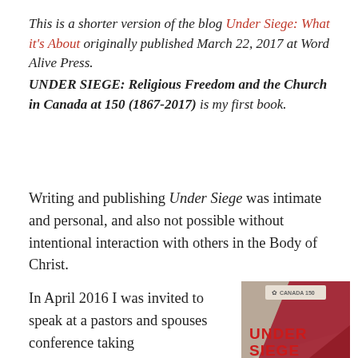This is a shorter version of the blog Under Siege: What it’s About originally published March 22, 2017 at Word Alive Press. UNDER SIEGE: Religious Freedom and the Church in Canada at 150 (1867-2017) is my first book.
Writing and publishing Under Siege was intimate and personal, and also not possible without intentional interaction with others in the Body of Christ.
In April 2016 I was invited to speak at a pastors and spouses conference taking
[Figure (photo): Book cover of Under Siege showing the title in bold red text with a Canada 150 logo at the top, set against a geometric background.]